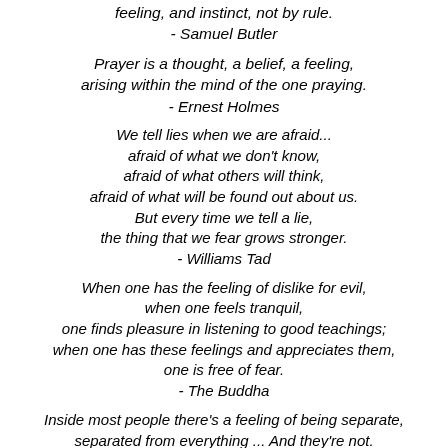feeling, and instinct, not by rule.
- Samuel Butler
Prayer is a thought, a belief, a feeling, arising within the mind of the one praying.
- Ernest Holmes
We tell lies when we are afraid...
afraid of what we don't know,
afraid of what others will think,
afraid of what will be found out about us.
But every time we tell a lie,
the thing that we fear grows stronger.
- Williams Tad
When one has the feeling of dislike for evil,
when one feels tranquil,
one finds pleasure in listening to good teachings;
when one has these feelings and appreciates them,
one is free of fear.
- The Buddha
Inside most people there's a feeling of being separate, separated from everything ... And they're not.
They're part of absolutely everyone, and everything.